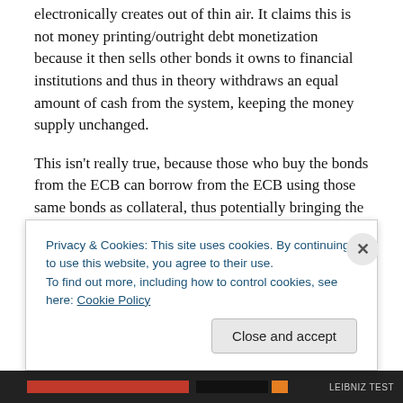electronically creates out of thin air. It claims this is not money printing/outright debt monetization because it then sells other bonds it owns to financial institutions and thus in theory withdraws an equal amount of cash from the system, keeping the money supply unchanged.
This isn't really true, because those who buy the bonds from the ECB can borrow from the ECB using those same bonds as collateral, thus potentially bringing the cash right back, but never mind.
However in recent weeks EU bank liquidity has worsened
Privacy & Cookies: This site uses cookies. By continuing to use this website, you agree to their use.
To find out more, including how to control cookies, see here: Cookie Policy